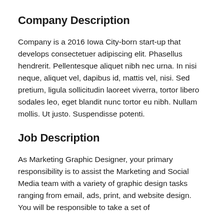Company Description
Company is a 2016 Iowa City-born start-up that develops consectetuer adipiscing elit. Phasellus hendrerit. Pellentesque aliquet nibh nec urna. In nisi neque, aliquet vel, dapibus id, mattis vel, nisi. Sed pretium, ligula sollicitudin laoreet viverra, tortor libero sodales leo, eget blandit nunc tortor eu nibh. Nullam mollis. Ut justo. Suspendisse potenti.
Job Description
As Marketing Graphic Designer, your primary responsibility is to assist the Marketing and Social Media team with a variety of graphic design tasks ranging from email, ads, print, and website design. You will be responsible to take a set of